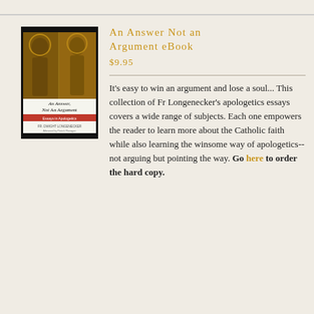[Figure (illustration): Book cover of 'An Answer, Not An Argument' by Fr. Gregory Longenecker, showing two religious figures on the cover with a red banner subtitle 'Essays in Apologetics']
An Answer Not an Argument eBook
$9.95
It's easy to win an argument and lose a soul... This collection of Fr Longenecker's apologetics essays covers a wide range of subjects. Each one empowers the reader to learn more about the Catholic faith while also learning the winsome way of apologetics--not arguing but pointing the way. Go here to order the hard copy.